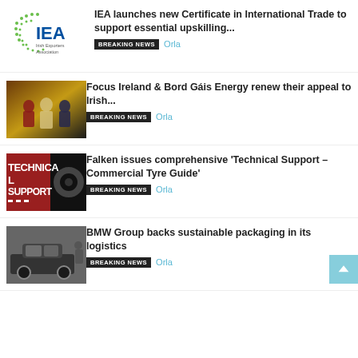[Figure (logo): IEA Irish Exporters Association logo]
IEA launches new Certificate in International Trade to support essential upskilling...
BREAKING NEWS   Orla
[Figure (photo): Three women standing in a warmly lit setting]
Focus Ireland & Bord Gáis Energy renew their appeal to Irish...
BREAKING NEWS   Orla
[Figure (photo): Technical Support text graphic with tyre imagery]
Falken issues comprehensive 'Technical Support – Commercial Tyre Guide'
BREAKING NEWS   Orla
[Figure (photo): Black and white photo of BMW car on production line]
BMW Group backs sustainable packaging in its logistics
BREAKING NEWS   Orla